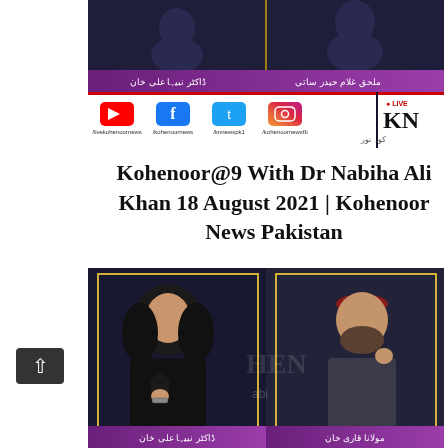[Figure (screenshot): Screenshot of Kohenoor News Pakistan TV broadcast showing two guests with purple name bar displaying Urdu names, social media icons bar (YouTube, Facebook, Twitter, Instagram) with handles /livekohenoornews, /kohenoornews, /knnewspk1, /kohenoornewsfb, and KN LIVE logo.]
Kohenoor@9 With Dr Nabiha Ali Khan 18 August 2021 | Kohenoor News Pakistan
[Figure (screenshot): Screenshot of Kohenoor News Pakistan TV broadcast showing a woman in black hijab and a man in traditional cap on a split screen, with purple name bar at bottom showing Urdu names.]